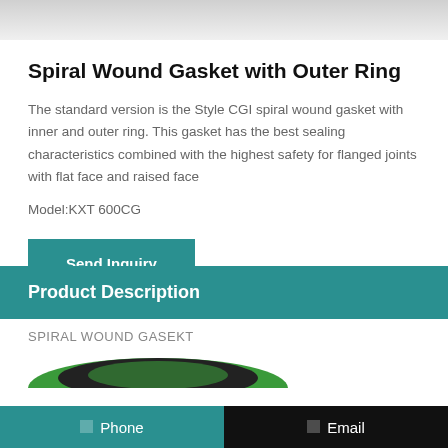Spiral Wound Gasket with Outer Ring
The standard version is the Style CGI spiral wound gasket with inner and outer ring. This gasket has the best sealing characteristics combined with the highest safety for flanged joints with flat face and raised face
Model:KXT 600CG
Send Inquiry
Product Description
SPIRAL WOUND GASEKT
[Figure (photo): Partial view of a spiral wound gasket showing green outer ring]
Phone   Email